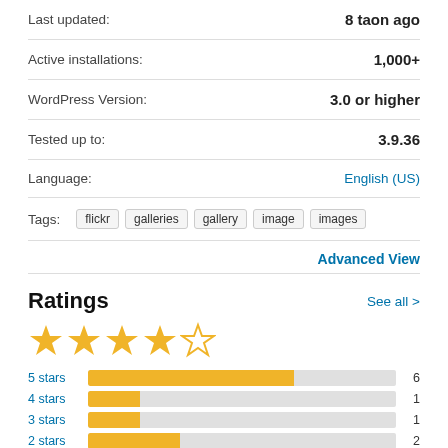Last updated: 8 taon ago
Active installations: 1,000+
WordPress Version: 3.0 or higher
Tested up to: 3.9.36
Language: English (US)
Tags: flickr galleries gallery image images
Advanced View
Ratings
See all >
[Figure (other): 4.5 star rating shown with filled and empty stars]
[Figure (bar-chart): Ratings breakdown]